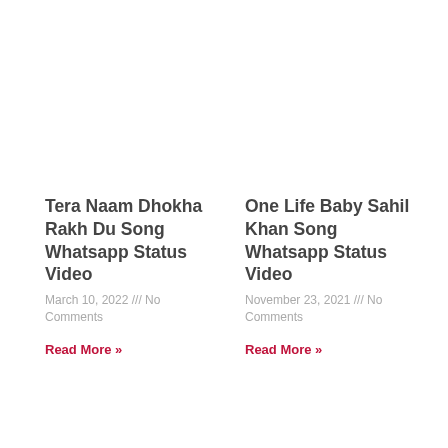Tera Naam Dhokha Rakh Du Song Whatsapp Status Video
March 10, 2022 /// No Comments
Read More »
One Life Baby Sahil Khan Song Whatsapp Status Video
November 23, 2021 /// No Comments
Read More »